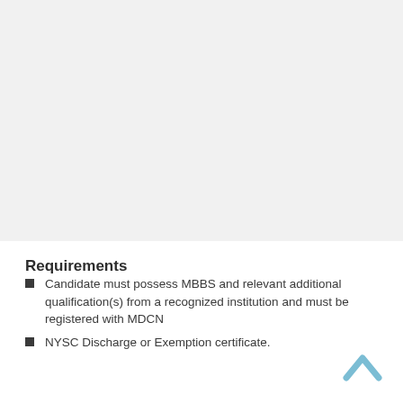Requirements
Candidate must possess MBBS and relevant additional qualification(s) from a recognized institution and must be registered with MDCN
NYSC Discharge or Exemption certificate.